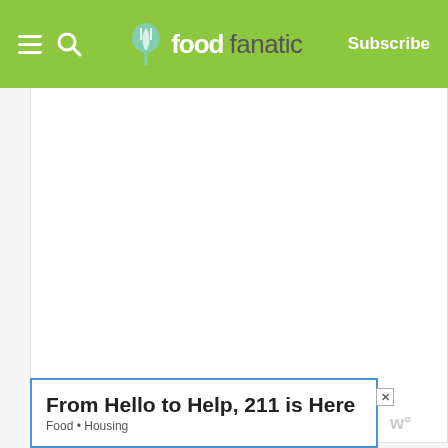foodfanatic — Subscribe
[Figure (photo): Large white/blank image placeholder area]
Directions
Preheat oven to 400°F. Line baking sheet with parchment paper and set aside.
Roll out puff pastry.
Place strawberries in the center of the p...
Drizzle with honey.
Sprinkle with sugar.
From Hello to Help, 211 is Here
Food • Housing